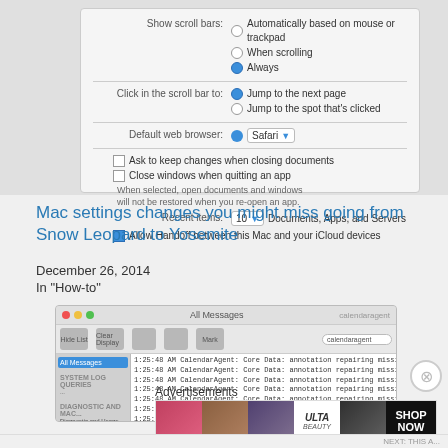[Figure (screenshot): macOS System Preferences panel showing scroll bars options (Automatically based on mouse or trackpad, When scrolling, Always selected), Click in the scroll bar to options (Jump to the next page selected, Jump to the spot that's clicked), Default web browser set to Safari, Ask to keep changes when closing documents checkbox, Close windows when quitting an app checkbox with note, Recent items set to 10 Documents Apps and Servers, Allow Handoff between this Mac and your iCloud devices checkbox]
Mac settings changes you might miss going from Snow Leopard to Yosemite
December 26, 2014
In "How-to"
[Figure (screenshot): macOS Console application showing All Messages log with calendaragent entries showing Core Data annotation repairing missing delete propagation for to-many relationship messages, with sidebar showing System Log Queries and Diagnostic and Usage sections]
Advertisements
[Figure (illustration): ULTA Beauty advertisement banner showing makeup-themed photos with lips, brush, eye, ULTA logo, another eye, and SHOP NOW call to action]